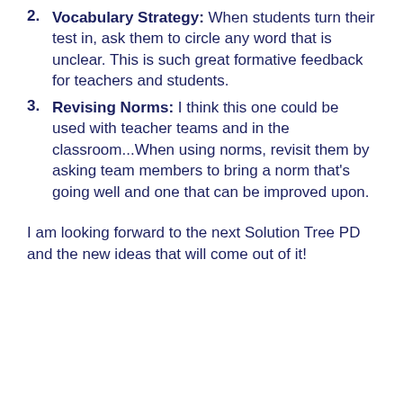Vocabulary Strategy: When students turn their test in, ask them to circle any word that is unclear. This is such great formative feedback for teachers and students.
Revising Norms: I think this one could be used with teacher teams and in the classroom...When using norms, revisit them by asking team members to bring a norm that's going well and one that can be improved upon.
I am looking forward to the next Solution Tree PD and the new ideas that will come out of it!